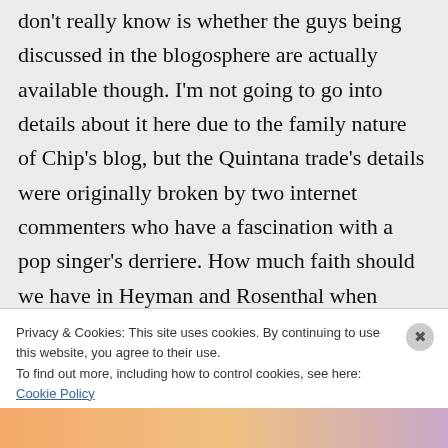don't really know is whether the guys being discussed in the blogosphere are actually available though. I'm not going to go into details about it here due to the family nature of Chip's blog, but the Quintana trade's details were originally broken by two internet commenters who have a fascination with a pop singer's derriere. How much faith should we have in Heyman and Rosenthal when they're getting scooped like that?
Privacy & Cookies: This site uses cookies. By continuing to use this website, you agree to their use. To find out more, including how to control cookies, see here: Cookie Policy